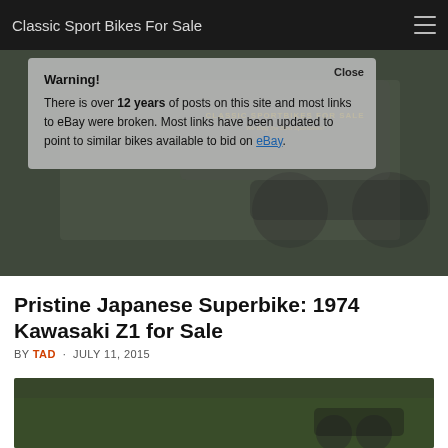Classic Sport Bikes For Sale
Warning! There is over 12 years of posts on this site and most links to eBay were broken. Most links have been updated to point to similar bikes available to bid on eBay.
Pristine Japanese Superbike: 1974 Kawasaki Z1 for Sale
BY TAD · JULY 11, 2015
[Figure (photo): Photograph of a 1974 Kawasaki Z1 motorcycle parked outdoors with trees in the background]